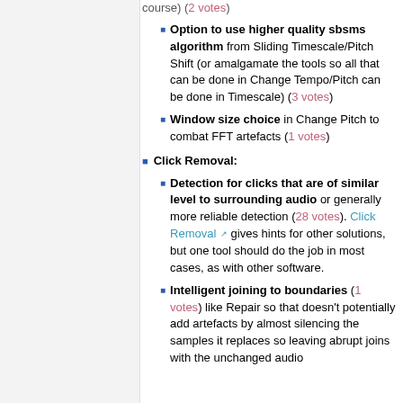Option to use higher quality sbsms algorithm from Sliding Timescale/Pitch Shift (or amalgamate the tools so all that can be done in Change Tempo/Pitch can be done in Timescale) (3 votes)
Window size choice in Change Pitch to combat FFT artefacts (1 votes)
Click Removal:
Detection for clicks that are of similar level to surrounding audio or generally more reliable detection (28 votes). Click Removal gives hints for other solutions, but one tool should do the job in most cases, as with other software.
Intelligent joining to boundaries (1 votes) like Repair so that doesn't potentially add artefacts by almost silencing the samples it replaces so leaving abrupt joins with the unchanged audio